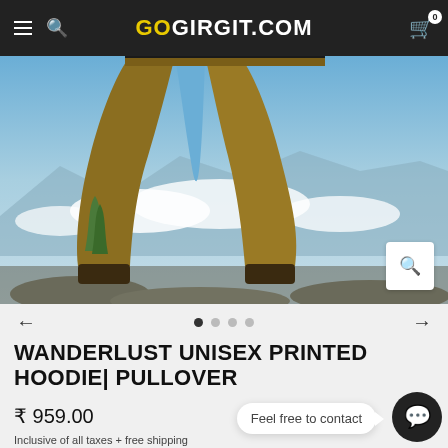GOGIRGIT.COM
[Figure (photo): Person standing on rocky mountain top wearing brown/khaki hiking pants, with sky, clouds, and mountain peaks in background. Product photo for hoodie/pants.]
WANDERLUST UNISEX PRINTED HOODIE| PULLOVER
₹ 959.00
Inclusive of all taxes + free shipping
Feel free to contact